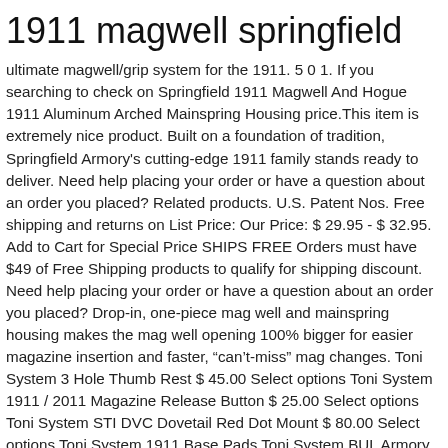1911 magwell springfield
ultimate magwell/grip system for the 1911. 5 0 1. If you searching to check on Springfield 1911 Magwell And Hogue 1911 Aluminum Arched Mainspring Housing price.This item is extremely nice product. Built on a foundation of tradition, Springfield Armory's cutting-edge 1911 family stands ready to deliver. Need help placing your order or have a question about an order you placed? Related products. U.S. Patent Nos. Free shipping and returns on List Price: Our Price: $ 29.95 - $ 32.95. Add to Cart for Special Price SHIPS FREE Orders must have $49 of Free Shipping products to qualify for shipping discount. Need help placing your order or have a question about an order you placed? Drop-in, one-piece mag well and mainspring housing makes the mag well opening 100% bigger for easier magazine insertion and faster, “can’t-miss” mag changes. Toni System 3 Hole Thumb Rest $ 45.00 Select options Toni System 1911 / 2011 Magazine Release Button $ 25.00 Select options Toni System STI DVC Dovetail Red Dot Mount $ 80.00 Select options Toni System 1911 Base Pads Toni System BUL Armory Micro Red Dot Mount Get Cheap Best Magwell For Springfield 1911 And Parkerized 1911 Magwell for Best deal Now!! Compatible with most brands of 1911s on the market including, but not limited to: Colt, Springfield,